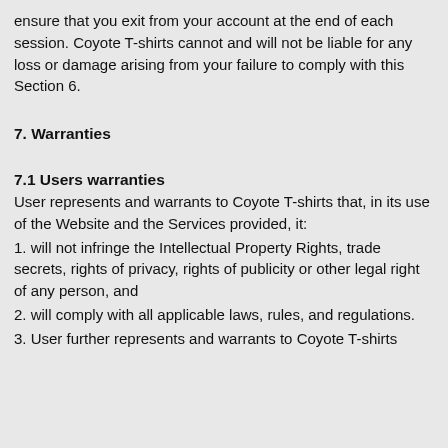ensure that you exit from your account at the end of each session. Coyote T-shirts cannot and will not be liable for any loss or damage arising from your failure to comply with this Section 6.
7. Warranties
7.1 Users warranties
User represents and warrants to Coyote T-shirts that, in its use of the Website and the Services provided, it:
1. will not infringe the Intellectual Property Rights, trade secrets, rights of privacy, rights of publicity or other legal right of any person, and
2. will comply with all applicable laws, rules, and regulations.
3. User further represents and warrants to Coyote T-shirts